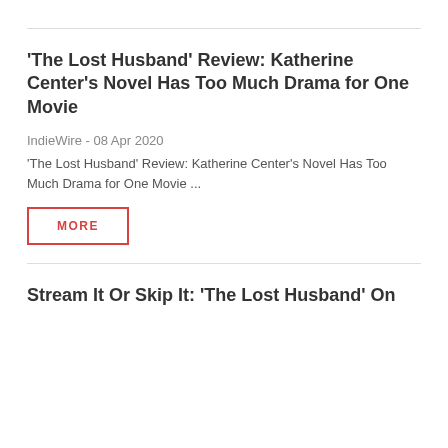‘The Lost Husband’ Review: Katherine Center’s Novel Has Too Much Drama for One Movie
IndieWire - 08 Apr 2020
‘The Lost Husband’ Review: Katherine Center’s Novel Has Too Much Drama for One Movie ...
MORE
Stream It Or Skip It: ‘The Lost Husband’ On